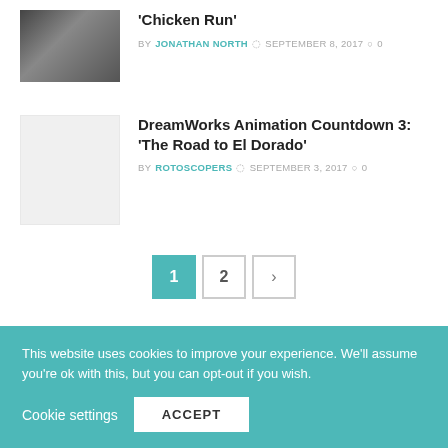'Chicken Run' — BY JONATHAN NORTH  SEPTEMBER 8, 2017  0
DreamWorks Animation Countdown 3: 'The Road to El Dorado' — BY ROTOSCOPERS  SEPTEMBER 3, 2017  0
Pagination: 1, 2, >
Popular Posts
Animation Addicts Podcast #259: Disney Canon Tier Ranking- The Golden Age
This website uses cookies to improve your experience. We'll assume you're ok with this, but you can opt-out if you wish. Cookie settings  ACCEPT